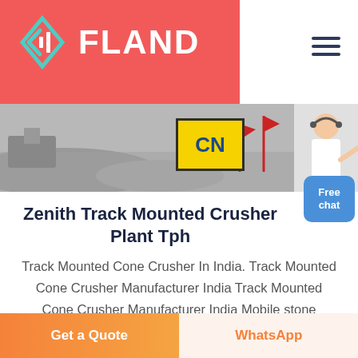[Figure (logo): FLAND logo with diamond/chevron icon on red background header bar]
[Figure (photo): Grayscale construction/mining site photo with yellow CN sign and person on right side]
Zenith Track Mounted Crusher Plant Tph
Track Mounted Cone Crusher In India. Track Mounted Cone Crusher Manufacturer India Track Mounted Cone Crusher Manufacturer India Mobile stone crusher manufacturers in india portable rock mobile stone crusher manufacturers in indiaenith has developed the mobile stone
[Figure (other): Free chat button - blue rounded rectangle with white text]
Get a Quote
WhatsApp